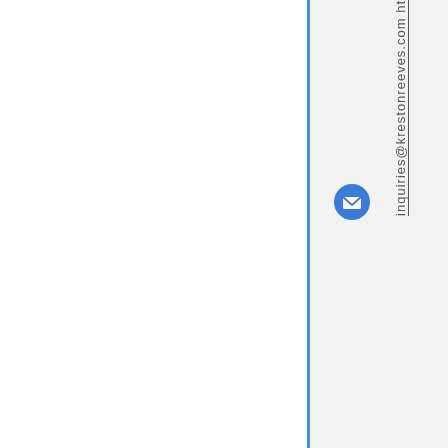[Figure (other): Email icon - blue circle with white envelope]
inquiries@krestonreeves.com ht